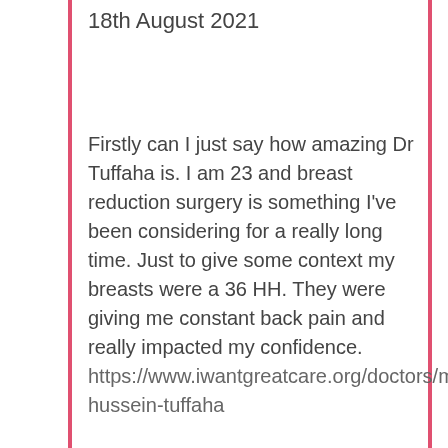18th August 2021
Firstly can I just say how amazing Dr Tuffaha is. I am 23 and breast reduction surgery is something I've been considering for a really long time. Just to give some context my breasts were a 36 HH. They were giving me constant back pain and really impacted my confidence.
https://www.iwantgreatcare.org/doctors/mr-hussein-tuffaha
Our site uses cookies. For more information, see our cookie policy.
Accept cookies and close
Reject cookies
Manage settings